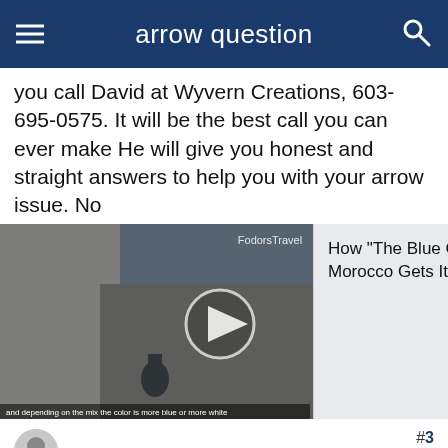arrow question
you call David at Wyvern Creations, 603-695-0575. It will be the best call you can ever make He will give you honest and straight answers to help you with your arrow issue. No
[Figure (screenshot): Video thumbnail of a street/alley scene (The Blue City, Morocco) with play button overlay and FodorsTravel branding. Ad overlay on right showing text: How "The Blue City" in Morocco Gets Its Color with a close (x) button.]
#3
awshucks , 12-05-2013 11:33 AM
Nontypical Buck
Jaguar 175# Carbons are lighter than alum arrows. You'll have to know/watch going under min weight w/ your xbow. I.E. 16" carbons. For an Excal recurve, the min weight is 350 gr w/ point. Don't know anything about your bow........